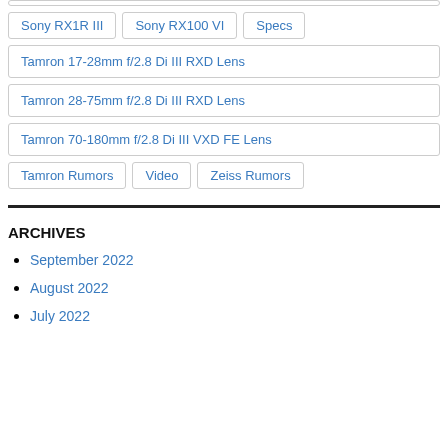Sony RX1R III
Sony RX100 VI
Specs
Tamron 17-28mm f/2.8 Di III RXD Lens
Tamron 28-75mm f/2.8 Di III RXD Lens
Tamron 70-180mm f/2.8 Di III VXD FE Lens
Tamron Rumors
Video
Zeiss Rumors
ARCHIVES
September 2022
August 2022
July 2022